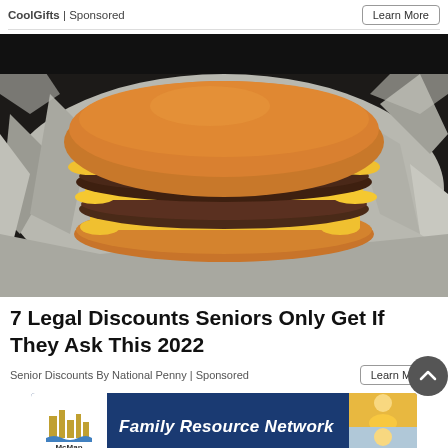CoolGifts | Sponsored
[Figure (photo): A double cheeseburger with melted yellow cheese on a sesame bun, wrapped in aluminum foil, photographed from the side on a dark background.]
7 Legal Discounts Seniors Only Get If They Ask This 2022
Senior Discounts By National Penny | Sponsored
[Figure (logo): Family Resource Network advertisement banner with McMan logo on the left and two children photos on the right, white text on dark blue background.]